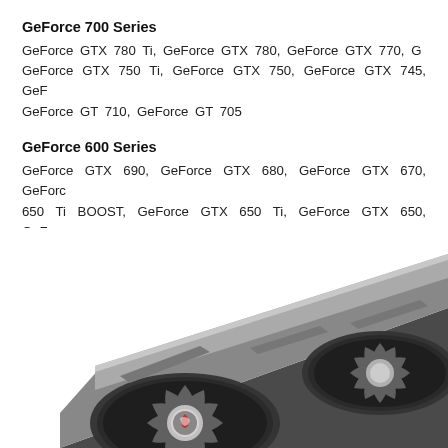GeForce 700 Series
GeForce GTX 780 Ti, GeForce GTX 780, GeForce GTX 770, G... GeForce GTX 750 Ti, GeForce GTX 750, GeForce GTX 745, GeF... GeForce GT 710, GeForce GT 705
GeForce 600 Series
GeForce GTX 690, GeForce GTX 680, GeForce GTX 670, GeForc... 650 Ti BOOST, GeForce GTX 650 Ti, GeForce GTX 650, GeForc... GeForce GT 635, GeForce GT 630, GeForce GT 620, GeForce GT
[Figure (photo): MSI GeForce GPU graphics card with dual fans, metallic shroud, dragon logo on fan center, photographed from above at an angle showing the cooling fans and top edge of the card.]